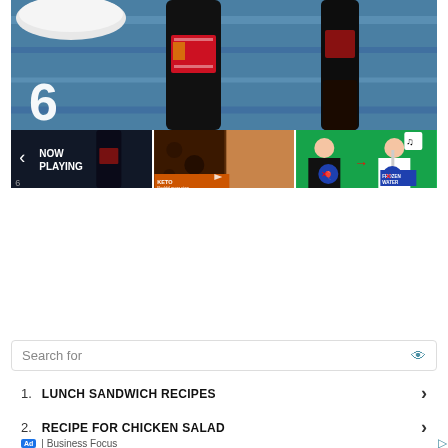[Figure (screenshot): Main video thumbnail showing Coca-Cola bottles on a blue surface with a white bowl, large number 6 overlaid in bottom left corner]
[Figure (screenshot): Three video thumbnails in a row: 1) Now Playing panel with back arrow and number 6, 2) Food/recipe video with orange label bar at bottom, 3) TikTok-style video with two people and FROZEN WATER text on green background]
Search for
1.  LUNCH SANDWICH RECIPES
2.  RECIPE FOR CHICKEN SALAD
Ad | Business Focus